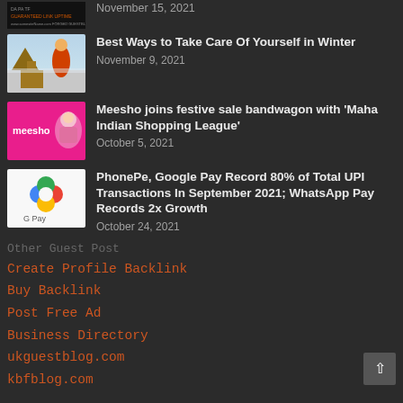[Figure (photo): Partial top image - dark background ad/article thumbnail]
November 15, 2021
[Figure (photo): Person in orange jacket in snow near wooden cabin in winter]
Best Ways to Take Care Of Yourself in Winter
November 9, 2021
[Figure (photo): Meesho logo banner - pink background with mascot character]
Meesho joins festive sale bandwagon with 'Maha Indian Shopping League'
October 5, 2021
[Figure (logo): Google Pay (GPay) logo on white background]
PhonePe, Google Pay Record 80% of Total UPI Transactions In September 2021; WhatsApp Pay Records 2x Growth
October 24, 2021
Other Guest Post
Create Profile Backlink
Buy Backlink
Post Free Ad
Business Directory
ukguestblog.com
kbfblog.com